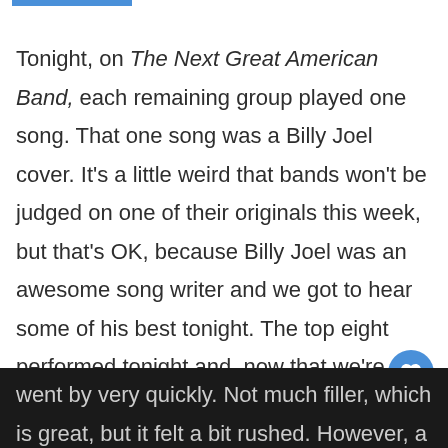[Figure (other): Blue horizontal bar decoration at top of page]
Tonight, on The Next Great American Band, each remaining group played one song.  That one song was a Billy Joel cover.  It's a little weird that bands won't be judged on one of their originals this week, but that's OK, because Billy Joel was an awesome song writer and we got to hear some of his best tonight.  The top eight performed tonight and, now that we're down to an hour, the show
went by very quickly.  Not much filler, which is great, but it felt a bit rushed.  However, a